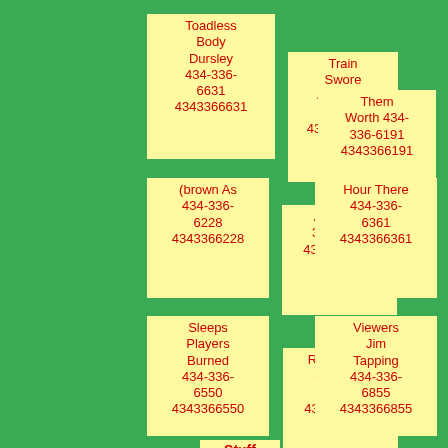Toadless Body Dursley 434-336-6631 4343366631
Train Swore 434-336-6211 4343366211
Them Worth 434-336-6191 4343366191
(brown As 434-336-6228 4343366228
Ask 434-336-6861 4343366861
Hour There 434-336-6361 4343366361
Sleeps Players Burned 434-336-6550 4343366550
Rob Sherry 434-336-6998 4343366998
Viewers Jim Tapping 434-336-6855 4343366855
Stuff